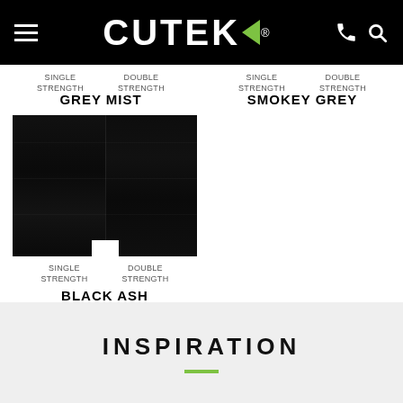CUTEK logo navigation header
SINGLE STRENGTH   DOUBLE STRENGTH
SINGLE STRENGTH   DOUBLE STRENGTH
GREY MIST
SMOKEY GREY
[Figure (photo): Dark/black ash wood stain color swatch showing very dark near-black wood grain texture, split into two panels (single strength and double strength)]
SINGLE STRENGTH   DOUBLE STRENGTH
BLACK ASH
INSPIRATION